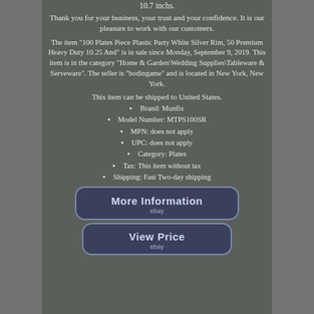10.7 inchs.
Thank you for your business, your trust and your confidence. It is our pleasure to work with our customers.
The item "100 Plates Piece Plastic Party White Silver Rim, 50 Premium Heavy Duty 10.25 And" is in sale since Monday, September 9, 2019. This item is in the category "Home & Garden\Wedding Supplies\Tableware & Serveware". The seller is "bodingame" and is located in New York, New York.
This item can be shipped to United States.
Brand: Munfix
Model Number: MTPS100SR
MPN: does not apply
UPC: does not apply
Category: Plates
Tax: This item without tax
Shipping: Fast Two-day shipping
[Figure (other): Button labeled 'More Information' with ebay branding]
[Figure (other): Button labeled 'View Price' with ebay branding]